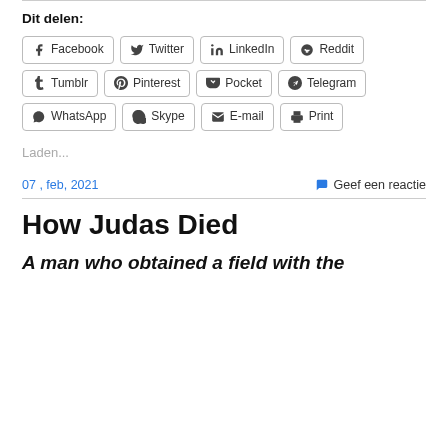Dit delen:
Facebook  Twitter  LinkedIn  Reddit  Tumblr  Pinterest  Pocket  Telegram  WhatsApp  Skype  E-mail  Print
Laden...
07 , feb, 2021
Geef een reactie
How Judas Died
A man who obtained a field with the